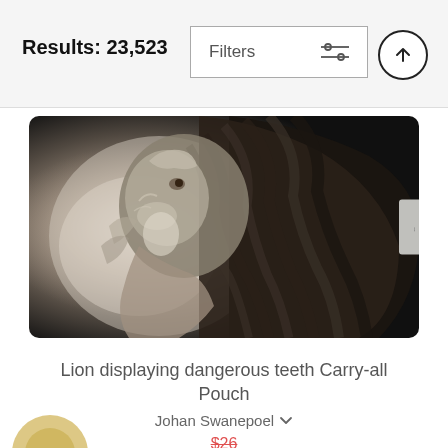Results: 23,523
[Figure (screenshot): Filters button with sliders icon and up-arrow circle button in header bar]
[Figure (photo): Black and white close-up photograph of a lion's head tilted upward, showing its mane and profile against a light misty background. A small watermark/tag is visible on the right side.]
Lion displaying dangerous teeth Carry-all Pouch
Johan Swanepoel
$26 $20